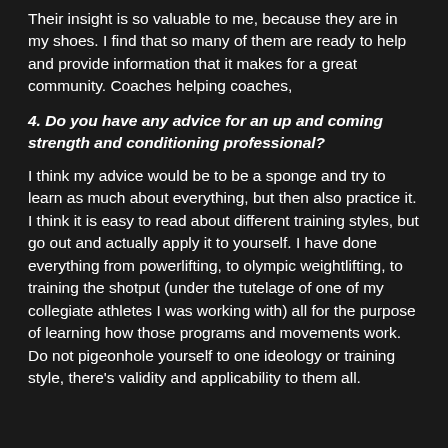Their insight is so valuable to me, because they are in my shoes. I find that so many of them are ready to help and provide information that it makes for a great community. Coaches helping coaches,
4. Do you have any advice for an up and coming strength and conditioning professional?
I think my advice would be to be a sponge and try to learn as much about everything, but then also practice it. I think it is easy to read about different training styles, but go out and actually apply it to yourself. I have done everything from powerlifting, to olympic weightlifting, to training the shotput (under the tutelage of one of my collegiate athletes I was working with) all for the purpose of learning how those programs and movements work. Do not pigeonhole yourself to one ideology or training style, there's validity and applicability to them all.